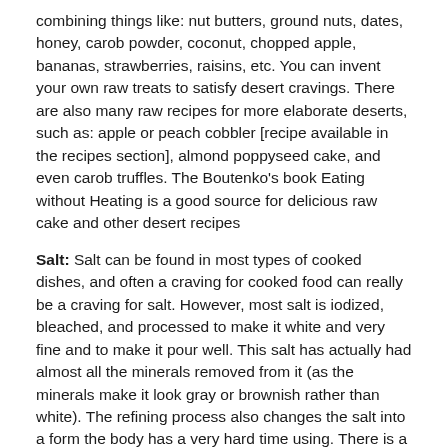combining things like: nut butters, ground nuts, dates, honey, carob powder, coconut, chopped apple, bananas, strawberries, raisins, etc. You can invent your own raw treats to satisfy desert cravings. There are also many raw recipes for more elaborate deserts, such as: apple or peach cobbler [recipe available in the recipes section], almond poppyseed cake, and even carob truffles. The Boutenko's book Eating without Heating is a good source for delicious raw cake and other desert recipes
Salt: Salt can be found in most types of cooked dishes, and often a craving for cooked food can really be a craving for salt. However, most salt is iodized, bleached, and processed to make it white and very fine and to make it pour well. This salt has actually had almost all the minerals removed from it (as the minerals make it look gray or brownish rather than white). The refining process also changes the salt into a form the body has a very hard time using. There is a kind of salt, called Celtic Sea Salt, which is not bleached and iodized into uselessness. This salt has all of the naturally found minerals still present and is very healthy for your body. In order to get enough salt you can put it into your salad dressings, pates and onto fresh vegetables (like cucumber). We have found that adding small amounts of salt (just the right amount so you can't really taste it) to sweet things helps to bring out the other flavors more as well.